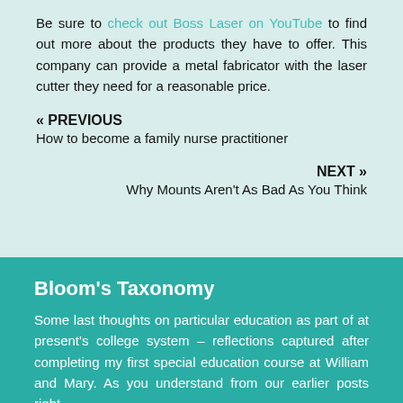Be sure to check out Boss Laser on YouTube to find out more about the products they have to offer. This company can provide a metal fabricator with the laser cutter they need for a reasonable price.
« PREVIOUS
How to become a family nurse practitioner
NEXT »
Why Mounts Aren't As Bad As You Think
Bloom's Taxonomy
Some last thoughts on particular education as part of at present's college system – reflections captured after completing my first special education course at William and Mary. As you understand from our earlier posts right